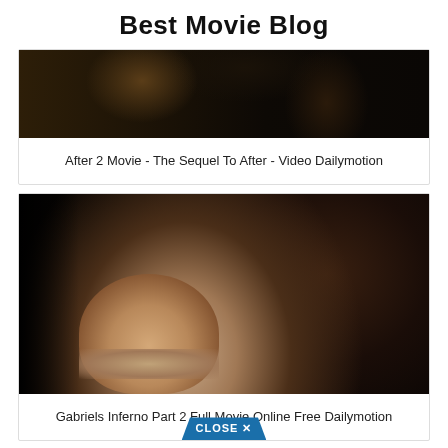Best Movie Blog
[Figure (photo): Dark romantic movie scene with two figures, dark background]
After 2 Movie - The Sequel To After - Video Dailymotion
[Figure (photo): Close-up of a couple about to kiss, man with stubble on left, woman with dark hair on right, dark background]
Gabriels Inferno Part 2 Full Movie Online Free Dailymotion